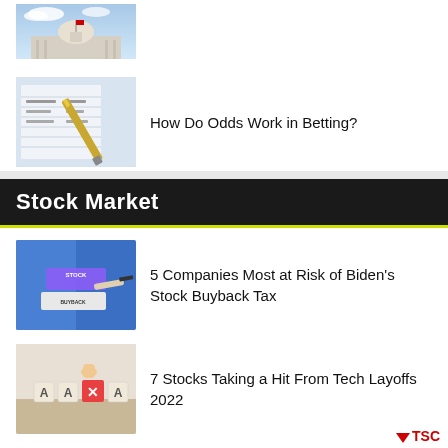[Figure (photo): Capitol building photo thumbnail]
[Figure (photo): Betting odds spreadsheet with pen thumbnail]
How Do Odds Work in Betting?
Stock Market
[Figure (photo): Stock Buyback label with hand and marker thumbnail]
5 Companies Most at Risk of Biden's Stock Buyback Tax
[Figure (photo): Layoffs concept with letter tiles thumbnail]
7 Stocks Taking a Hit From Tech Layoffs 2022
TSC